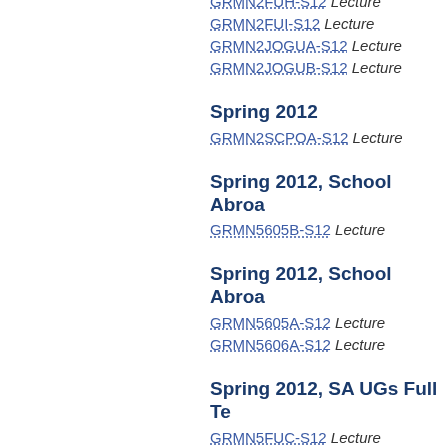GRMN2FUH-S12 Lecture
GRMN2FUI-S12 Lecture
GRMN2JOGUA-S12 Lecture
GRMN2JOGUB-S12 Lecture
Spring 2012
GRMN2SCPOA-S12 Lecture
Spring 2012, School Abroad
GRMN5605B-S12 Lecture
Spring 2012, School Abroad
GRMN5605A-S12 Lecture
GRMN5606A-S12 Lecture
Spring 2012, SA UGs Full Te
GRMN5FUC-S12 Lecture
Spring 2012, School Abroad
GRMN5FUA-S12 Lecture
GRMN5FUB-S12 Lecture